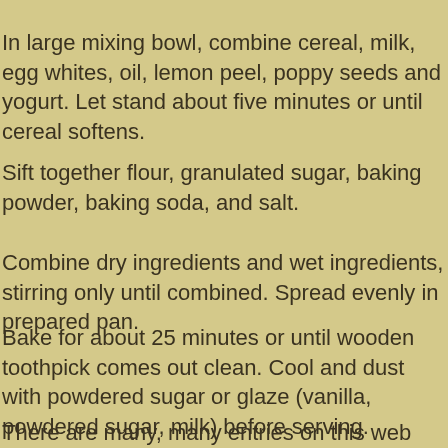In large mixing bowl, combine cereal, milk, egg whites, oil, lemon peel, poppy seeds and yogurt. Let stand about five minutes or until cereal softens.
Sift together flour, granulated sugar, baking powder, baking soda, and salt.
Combine dry ingredients and wet ingredients, stirring only until combined. Spread evenly in prepared pan.
Bake for about 25 minutes or until wooden toothpick comes out clean. Cool and dust with powdered sugar or glaze (vanilla, powdered sugar, milk) before serving.
There are many, many entries on this web site. Be sure to